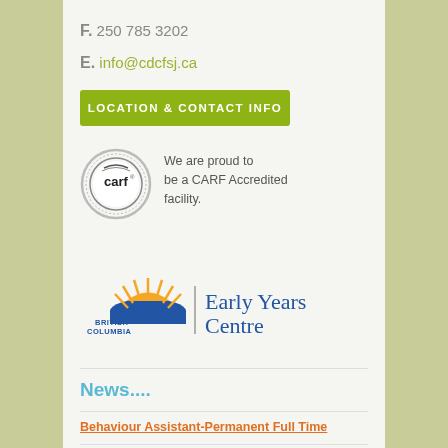F. 250 785 3202
E. info@cdcfsj.ca
LOCATION & CONTACT INFO
[Figure (logo): CARF accreditation logo - circular emblem with 'carf' text]
We are proud to be a CARF Accredited facility.
[Figure (logo): British Columbia Early Years Centre logo with sunrise over mountains]
News....
Behaviour Assistant-Permanent Full Time
July & Aug Family Play & Learn Calendar
Click Here To View Calendar